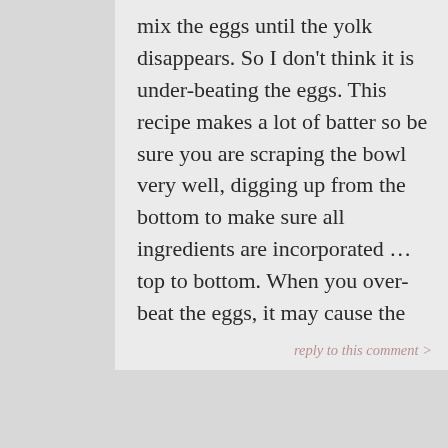mix the eggs until the yolk disappears. So I don't think it is under-beating the eggs. This recipe makes a lot of batter so be sure you are scraping the bowl very well, digging up from the bottom to make sure all ingredients are incorporated ... top to bottom. When you over-beat the eggs, it may cause the cake to have a crust that separates and the batter to sink. Hope that makes sense and hope it helps. Take care and thanks for reading SRFD!
reply to this comment >